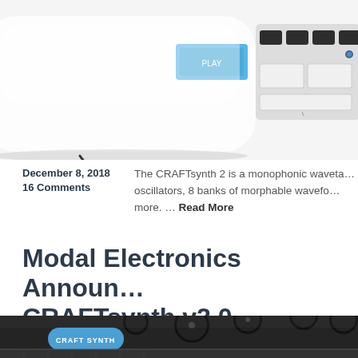[Figure (photo): Close-up photo of a CRAFTsynth 2 synthesizer device, white body with blue and dark control buttons, top portion cropped]
December 8, 2018
16 Comments
The CRAFTsynth 2 is a monophonic waveta… oscillators, 8 banks of morphable wavefo… more. … Read More
Modal Electronics Announ… CRAFTsynth v2.0
[Figure (photo): Close-up photo of the CRAFTsynth v2.0 synthesizer, dark body with black knobs and blue CRAFT SYNTH branding label, bottom portion shown]